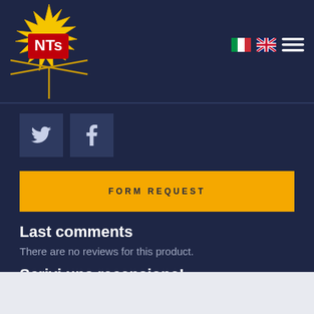[Figure (logo): NTS logo with star burst and crossed items on dark blue background]
[Figure (other): Italian flag and UK flag icons, plus hamburger menu icon in top right]
[Figure (other): Twitter and Facebook social media buttons (grey square icons)]
FORM REQUEST
Last comments
There are no reviews for this product.
Scrivi una recensione!
SCRIVI UNA RECENSIONE